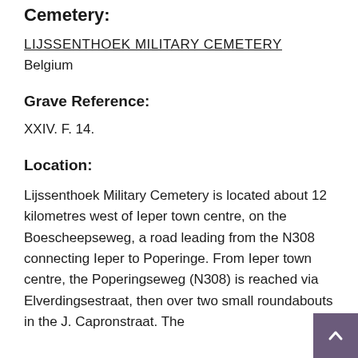Cemetery:
LIJSSENTHOEK MILITARY CEMETERY
Belgium
Grave Reference:
XXIV. F. 14.
Location:
Lijssenthoek Military Cemetery is located about 12 kilometres west of Ieper town centre, on the Boescheepseweg, a road leading from the N308 connecting Ieper to Poperinge. From Ieper town centre, the Poperingseweg (N308) is reached via Elverdingsestraat, then over two small roundabouts in the J. Capronstraat. The